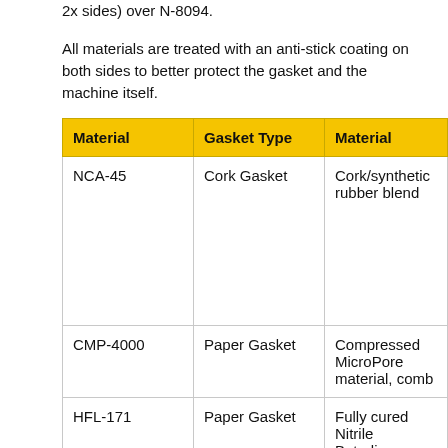2x sides) over N-8094.
All materials are treated with an anti-stick coating on both sides to better protect the gasket and the machine itself.
| Material | Gasket Type | Material |
| --- | --- | --- |
| NCA-45 | Cork Gasket | Cork/synthetic rubber blend |
| CMP-4000 | Paper Gasket | Compressed MicroPore material, comb |
| HFL-171 | Paper Gasket | Fully cured Nitrile Butadiene rubbe |